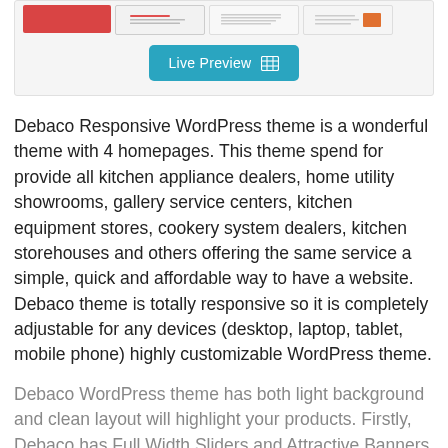[Figure (screenshot): Thumbnail strip of website theme previews with red and light colored screenshots, followed by a teal 'Live Preview' button with a grid icon]
Debaco Responsive WordPress theme is a wonderful theme with 4 homepages. This theme spend for provide all kitchen appliance dealers, home utility showrooms, gallery service centers, kitchen equipment stores, cookery system dealers, kitchen storehouses and others offering the same service a simple, quick and affordable way to have a website. Debaco theme is totally responsive so it is completely adjustable for any devices (desktop, laptop, tablet, mobile phone) highly customizable WordPress theme.
Debaco WordPress theme has both light background and clean layout will highlight your products. Firstly, Debaco has Full Width Sliders and Attractive Banners to showcase hot trend products or new arrivals to immediately approach